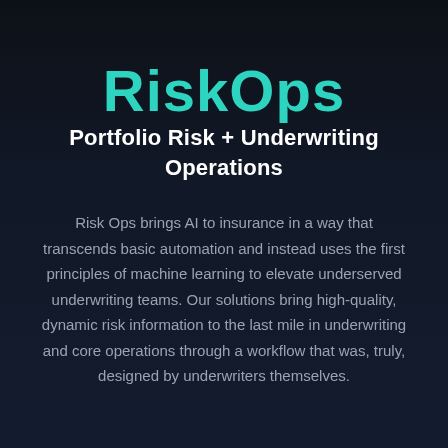RiskOps
Portfolio Risk + Underwriting Operations
Risk Ops brings AI to insurance in a way that transcends basic automation and instead uses the first principles of machine learning to elevate underserved underwriting teams. Our solutions bring high-quality, dynamic risk information to the last mile in underwriting and core operations through a workflow that was, truly, designed by underwriters themselves.